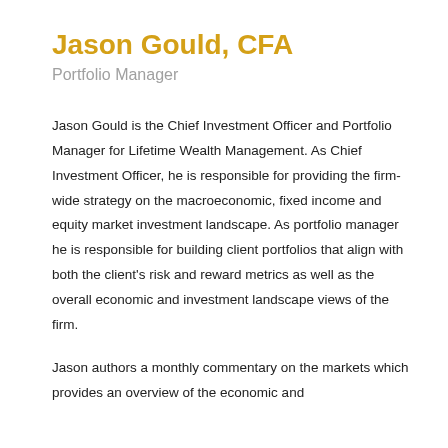Jason Gould, CFA
Portfolio Manager
Jason Gould is the Chief Investment Officer and Portfolio Manager for Lifetime Wealth Management. As Chief Investment Officer, he is responsible for providing the firm-wide strategy on the macroeconomic, fixed income and equity market investment landscape. As portfolio manager he is responsible for building client portfolios that align with both the client's risk and reward metrics as well as the overall economic and investment landscape views of the firm.
Jason authors a monthly commentary on the markets which provides an overview of the economic and